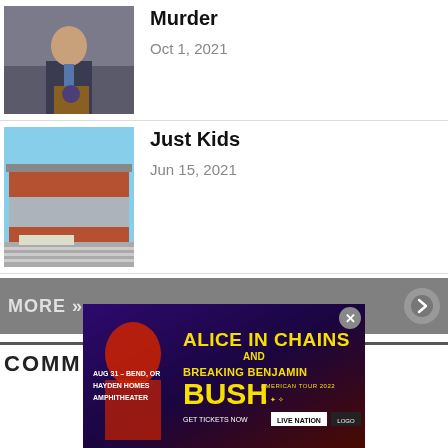[Figure (photo): Man in suit standing at podium outdoors]
Murder
Oct 1, 2021
[Figure (photo): Exterior of a modern building with brick facade and parking lot]
Just Kids
Jun 15, 2021
MORE »
COMMENTS...
[Figure (advertisement): Alice in Chains and Breaking Benjamin Bush American Tour 2022 concert ad. Aug 31 - Bend, OR. Hayden Homes Amphitheater. Get Tickets Now via Live Nation.]